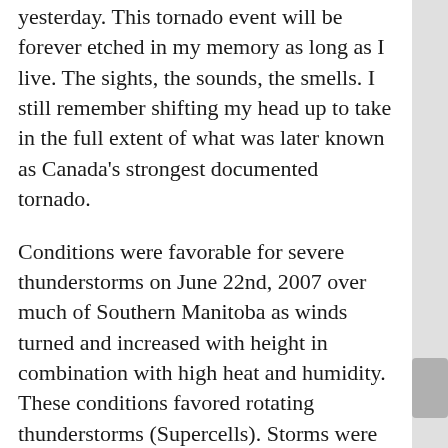yesterday. This tornado event will be forever etched in my memory as long as I live. The sights, the sounds, the smells. I still remember shifting my head up to take in the full extent of what was later known as Canada's strongest documented tornado.
Conditions were favorable for severe thunderstorms on June 22nd, 2007 over much of Southern Manitoba as winds turned and increased with height in combination with high heat and humidity. These conditions favored rotating thunderstorms (Supercells). Storms were supposed to form along a cold front that was oriented from NE to SW across WesMan. A warm front was draped to the east through the Interlake with a surface trough dissecting the warm sector in half oriented north-to-south through Portage La